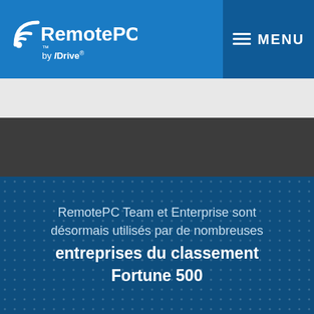RemotePC by IDrive — MENU
RemotePC Team et Enterprise sont désormais utilisés par de nombreuses entreprises du classement Fortune 500